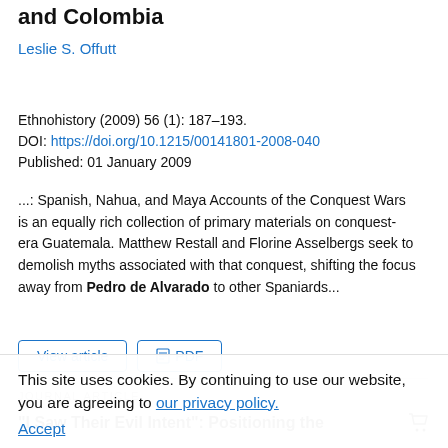and Colombia
Leslie S. Offutt
Ethnohistory (2009) 56 (1): 187–193.
DOI: https://doi.org/10.1215/00141801-2008-040
Published: 01 January 2009
...: Spanish, Nahua, and Maya Accounts of the Conquest Wars is an equally rich collection of primary materials on conquest- era Guatemala. Matthew Restall and Florine Asselbergs seek to demolish myths associated with that conquest, shifting the focus away from Pedro de Alvarado to other Spaniards...
View article   PDF
JOURNAL ARTICLE
"I Saw Their Evil Intent": Positioning the
This site uses cookies. By continuing to use our website, you are agreeing to our privacy policy.
Accept